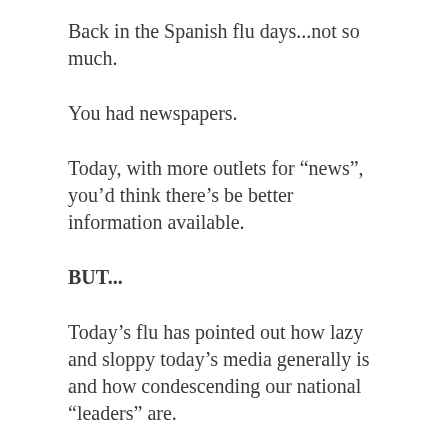Back in the Spanish flu days...not so much.
You had newspapers.
Today, with more outlets for “news”, you’d think there’s be better information available.
BUT...
Today’s flu has pointed out how lazy and sloppy today’s media generally is and how condescending our national “leaders” are.
TV can show us those jagged red, orange and yellow graphs and toss out some numbers that, while true, when they’re not balanced with comparable pieces of information, we have a story that falls short of totally